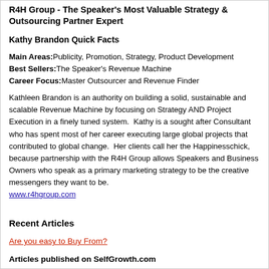R4H Group - The Speaker's Most Valuable Strategy & Outsourcing Partner Expert
Kathy Brandon Quick Facts
Main Areas: Publicity, Promotion, Strategy, Product Development
Best Sellers: The Speaker's Revenue Machine
Career Focus: Master Outsourcer and Revenue Finder
Kathleen Brandon is an authority on building a solid, sustainable and scalable Revenue Machine by focusing on Strategy AND Project Execution in a finely tuned system.  Kathy is a sought after Consultant who has spent most of her career executing large global projects that contributed to global change.  Her clients call her the Happinesschick, because partnership with the R4H Group allows Speakers and Business Owners who speak as a primary marketing strategy to be the creative messengers they want to be.
www.r4hgroup.com
Recent Articles
Are you easy to Buy From?
Articles published on SelfGrowth.com